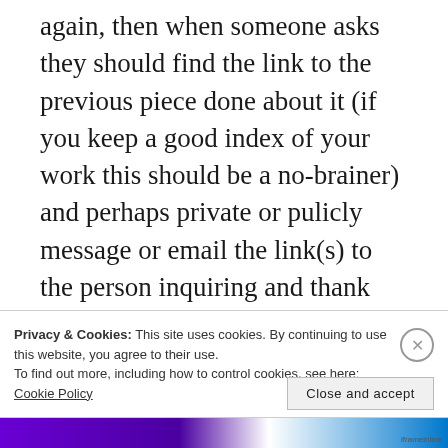again, then when someone asks they should find the link to the previous piece done about it (if you keep a good index of your work this should be a no-brainer) and perhaps private or pulicly message or email the link(s) to the person inquiring and thank them for their interest in the work, for watching or reading and engaging in the conversation.  In my world, this is the polite and professional way to
Privacy & Cookies: This site uses cookies. By continuing to use this website, you agree to their use.
To find out more, including how to control cookies, see here: Cookie Policy
Close and accept